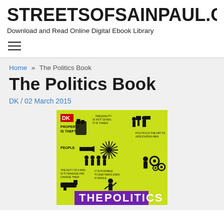STREETSOFSAINPAUL.COM
Download and Read Online Digital Ebook Library
[Figure (other): Hamburger menu icon with three horizontal lines]
Home » The Politics Book
The Politics Book
DK / 02 March 2015
[Figure (illustration): Book cover of The Politics Book by DK, featuring a yellow-green background with black silhouette illustrations of political figures and symbols, and purple text reading THE POLITICS at the bottom]